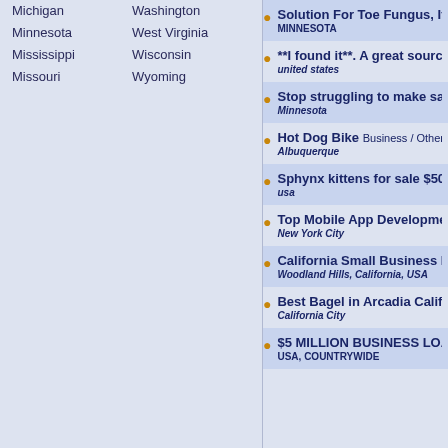Michigan
Washington
Minnesota
West Virginia
Mississippi
Wisconsin
Missouri
Wyoming
Solution For Toe Fungus, Itchy... — MINNESOTA
**I found it**. A great source of... — united states
Stop struggling to make sales, th... — Minnesota
Hot Dog Bike Business / Other — Albuquerque
Sphynx kittens for sale $500 Pets — usa
Top Mobile App Development C... — New York City
California Small Business Healt... — Woodland Hills, California, USA
Best Bagel in Arcadia California... — California City
$5 MILLION BUSINESS LOA... — USA, COUNTRYWIDE